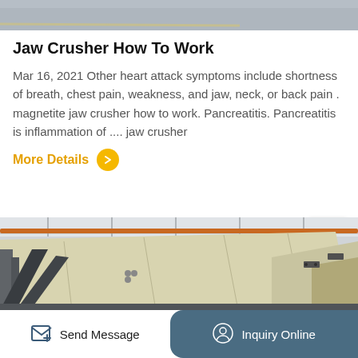[Figure (photo): Top portion of industrial machinery image, gray tones]
Jaw Crusher How To Work
Mar 16, 2021 Other heart attack symptoms include shortness of breath, chest pain, weakness, and jaw, neck, or back pain . magnetite jaw crusher how to work. Pancreatitis. Pancreatitis is inflammation of .... jaw crusher
More Details
[Figure (photo): Industrial jaw crusher machinery in a factory setting, conveyor and crusher equipment visible]
Send Message    Inquiry Online